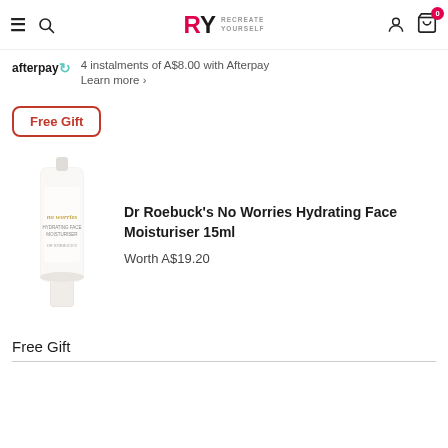RY RECREATE YOURSELF — navigation bar with hamburger, search, logo, user, cart (0)
4 instalments of A$8.00 with Afterpay
Learn more
Free Gift
[Figure (photo): Dr Roebuck's No Worries Hydrating Face Moisturiser 15ml product tube, white packaging with gold script lettering]
Dr Roebuck's No Worries Hydrating Face Moisturiser 15ml
Worth A$19.20
Free Gift